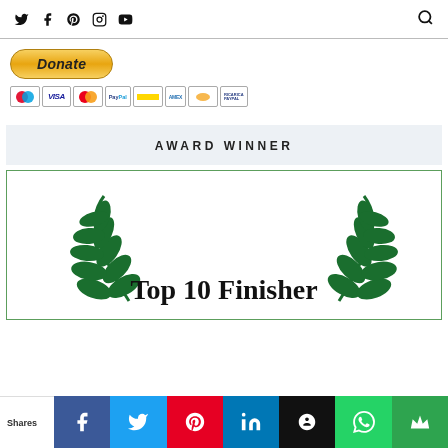Social media navigation bar with Twitter, Facebook, Pinterest, Instagram, YouTube icons and Search
[Figure (other): PayPal Donate button with payment card logos (Maestro, VISA, MasterCard, PayPal, and others)]
AWARD WINNER
[Figure (illustration): Top 10 Finisher award badge with green laurel wreaths on both sides and text 'Top 10 Finisher']
Shares | Facebook | Twitter | Pinterest | LinkedIn | Hootsuite | WhatsApp | Crown